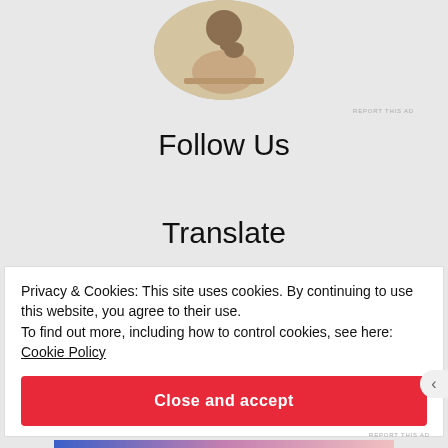[Figure (photo): Circular cropped photo of a person sitting at a desk, thinking, with hand on chin, wearing a beige top]
REPORT THIS AD
Follow Us
Translate
Privacy & Cookies: This site uses cookies. By continuing to use this website, you agree to their use.
To find out more, including how to control cookies, see here:
Cookie Policy
Close and accept